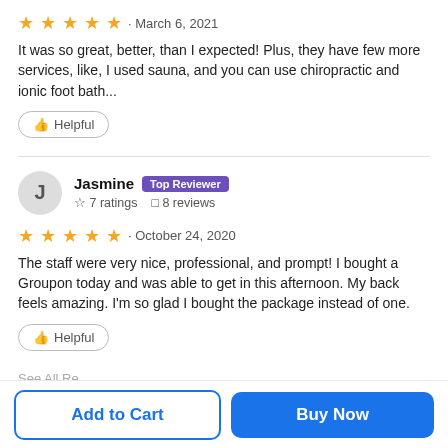★★★★★ · March 6, 2021
It was so great, better, than I expected! Plus, they have few more services, like, I used sauna, and you can use chiropractic and ionic foot bath...
👍 Helpful
J  Jasmine · Top Reviewer  ☆ 7 ratings  ◻ 8 reviews
★★★★★ · October 24, 2020
The staff were very nice, professional, and prompt! I bought a Groupon today and was able to get in this afternoon. My back feels amazing. I'm so glad I bought the package instead of one.
👍 Helpful
See All Reviews
Add to Cart
Buy Now